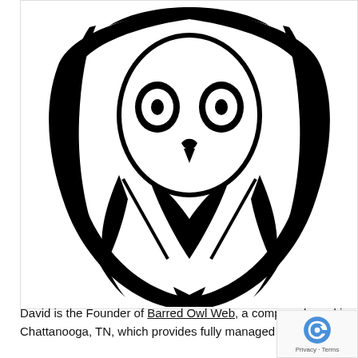[Figure (logo): Black and white line art of a barn owl logo — stylized owl face with large eyes, beak, and wing feathers forming a shield-like shape. Rendered in thick black outlines on white background.]
David is the Founder of Barred Owl Web, a company based in Chattanooga, TN, which provides fully managed web serve...